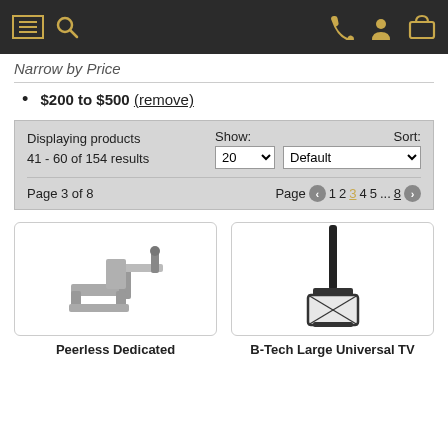Navigation bar with menu, search, phone, account, and cart icons
Narrow by Price
$200 to $500 (remove)
Displaying products 41 - 60 of 154 results | Show: 20 | Sort: Default | Page 3 of 8 | Page 1 2 3 4 5 ... 8
[Figure (photo): Wall mount bracket for TV, silver/metallic, articulating arm]
[Figure (photo): Ceiling mount for TV, black, long pole with bracket at bottom]
Peerless Dedicated
B-Tech Large Universal TV